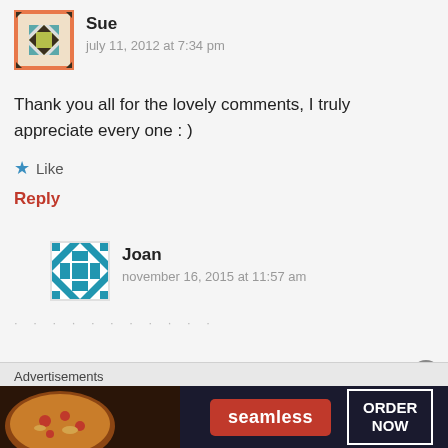[Figure (illustration): Avatar icon for user Sue — decorative quilting pattern with orange border, teal, olive, and dark geometric shapes]
Sue
july 11, 2012 at 7:34 pm
Thank you all for the lovely comments, I truly appreciate every one : )
Like
Reply
[Figure (illustration): Avatar icon for user Joan — blue and white geometric quilting pattern]
Joan
november 16, 2015 at 11:57 am
Advertisements
[Figure (screenshot): Seamless food delivery advertisement banner with pizza image, red Seamless logo badge, and ORDER NOW button]